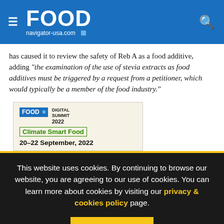FOOD navigator-usa.com
has caused it to review the safety of Reb A as a food additive, adding "the examination of the use of stevia extracts as food additives must be triggered by a request from a petitioner, which would typically be a member of the food industry."
[Figure (screenshot): FoodNavigator Digital Summit 2022 - Climate Smart Food advertisement banner, 20-22 September, 2022]
This website uses cookies. By continuing to browse our website, you are agreeing to our use of cookies. You can learn more about cookies by visiting our privacy & cookies policy page.
I Agree